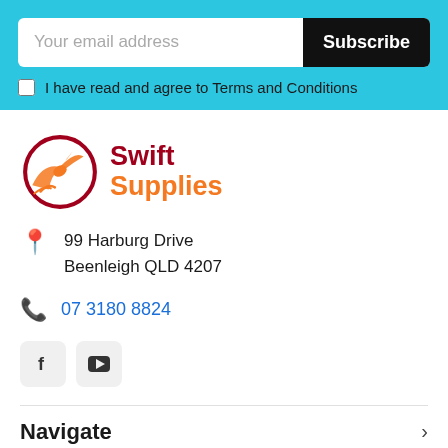Your email address
Subscribe
I have read and agree to Terms and Conditions
[Figure (logo): Swift Supplies logo: orange bird/lightning bolt inside dark red circle, with 'Swift' in dark red bold and 'Supplies' in orange bold]
99 Harburg Drive
Beenleigh QLD 4207
07 3180 8824
[Figure (other): Facebook icon (f) in grey rounded box]
[Figure (other): YouTube icon (play button) in grey rounded box]
Navigate
Categories